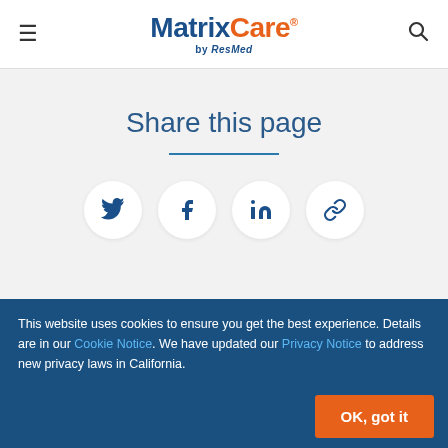[Figure (logo): MatrixCare by ResMed logo — MatrixCare in dark blue and orange bold text, 'by ResMed' in smaller italic text below]
Share this page
[Figure (infographic): Four circular social share buttons: Twitter, Facebook, LinkedIn, and a link/chain icon, arranged horizontally on a light grey background]
This website uses cookies to ensure you get the best experience. Details are in our Cookie Notice. We have updated our Privacy Notice to address new privacy laws in California.
OK, got it